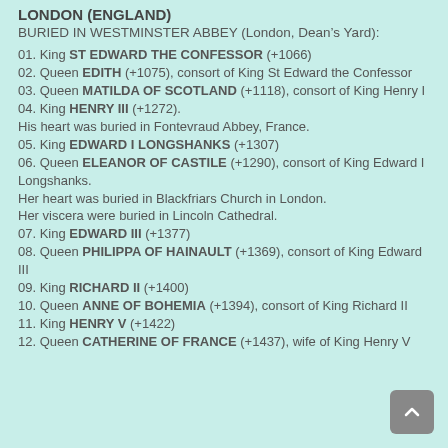LONDON (ENGLAND)
BURIED IN WESTMINSTER ABBEY (London, Dean's Yard):
01. King ST EDWARD THE CONFESSOR (+1066)
02. Queen EDITH (+1075), consort of King St Edward the Confessor
03. Queen MATILDA OF SCOTLAND (+1118), consort of King Henry I
04. King HENRY III (+1272).
His heart was buried in Fontevraud Abbey, France.
05. King EDWARD I LONGSHANKS (+1307)
06. Queen ELEANOR OF CASTILE (+1290), consort of King Edward I Longshanks.
Her heart was buried in Blackfriars Church in London.
Her viscera were buried in Lincoln Cathedral.
07. King EDWARD III (+1377)
08. Queen PHILIPPA OF HAINAULT (+1369), consort of King Edward III
09. King RICHARD II (+1400)
10. Queen ANNE OF BOHEMIA (+1394), consort of King Richard II
11. King HENRY V (+1422)
12. Queen CATHERINE OF FRANCE (+1437), wife of King Henry V